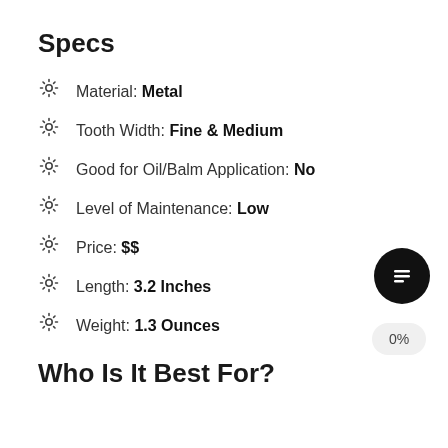Specs
Material: Metal
Tooth Width: Fine & Medium
Good for Oil/Balm Application: No
Level of Maintenance: Low
Price: $$
Length: 3.2 Inches
Weight: 1.3 Ounces
Who Is It Best For?